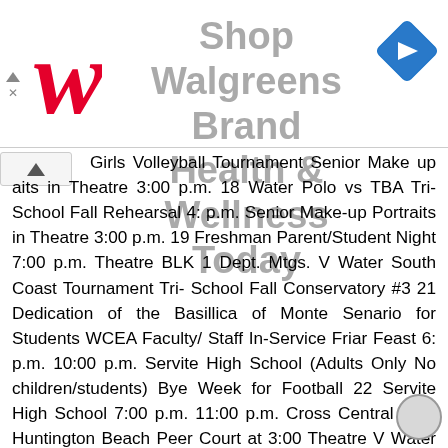[Figure (advertisement): Walgreens advertisement banner: Shop Walgreens Brand Health & Wellness Today, with Walgreens cursive W logo on left and blue navigation diamond icon on right]
Girls Volleyball Tournament Senior Make up aits in Theatre 3:00 p.m. 18 Water Polo vs TBA Tri-School Fall Rehearsal 4: p.m. Senior Make-up Portraits in Theatre 3:00 p.m. 19 Freshman Parent/Student Night 7:00 p.m. Theatre BLK 1 Dept. Mtgs. V Water South Coast Tournament Tri- School Fall Conservatory #3 21 Dedication of the Basillica of Monte Senario for Students WCEA Faculty/ Staff In-Service Friar Feast 6: p.m. 10:00 p.m. Servite High School (Adults Only No children/students) Bye Week for Football 22 Servite High School 7:00 p.m. 11:00 p.m. Cross Central Park Huntington Beach Peer Court at 3:00 Theatre V Water South Coast Tournament V Water South Coast Tournament V Water South Coast Tournament 24 Chinese Mid-Autumn Festival Cross Country Trinity League Preview BLK 1 Collaboration 27 Water Polo vs. Mater Dei 4:00 p.m. 28 Father/Son Mass & Breakfast Water Polo vs. TBA KAIROS #61 Tri-School Fall Rehearsal 4: p.m. KAIROS #61 KAIROS #61 Tri- School Fall